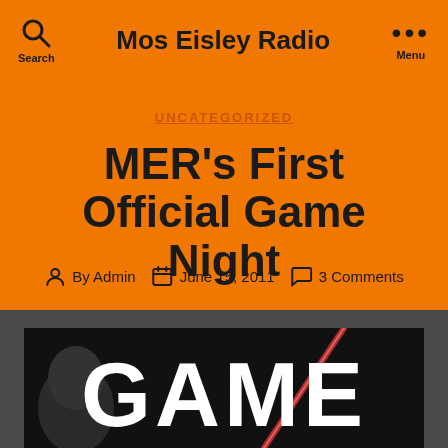Mos Eisley Radio
UNCATEGORIZED
MER’s First Official Game Night
By Admin  June 15, 2011  3 Comments
[Figure (photo): Game night promotional image showing a face silhouette and the word GAME in large white letters on a dark background with a lightsaber-like light streak]